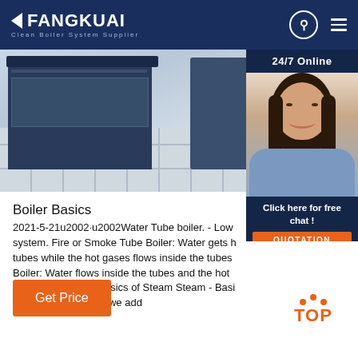FANGKUAI - Clean Boiler System Supplier
[Figure (photo): Hero image of industrial boiler equipment on white tiled floor, partially showing boiler unit in dark casing]
[Figure (photo): 24/7 Online support agent - woman with headset smiling, with 'Click here for free chat!' text and QUOTATION button]
Boiler Basics
2021-5-21u2002·u2002Water Tube boiler. - Low system. Fire or Smoke Tube Boiler: Water gets h tubes while the hot gases flows inside the tubes Boiler: Water flows inside the tubes and the hot outside the tubes. Basics of Steam Steam - Basi of water at 0C and if we add
[Figure (other): Get Price button - orange button with white text]
[Figure (other): TOP navigation button with orange dots and text]